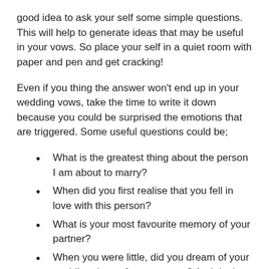good idea to ask your self some simple questions. This will help to generate ideas that may be useful in your vows. So place your self in a quiet room with paper and pen and get cracking!
Even if you thing the answer won't end up in your wedding vows, take the time to write it down because you could be surprised the emotions that are triggered. Some useful questions could be;
What is the greatest thing about the person I am about to marry?
When did you first realise that you fell in love with this person?
What is your most favourite memory of your partner?
When you were little, did you dream of your wedding day or future spouse? And do they match?